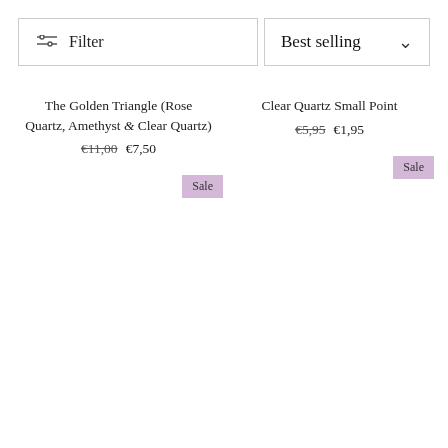Filter
Best selling
The Golden Triangle (Rose Quartz, Amethyst & Clear Quartz) €11,00  €7,50
Clear Quartz Small Point €5,95  €1,95
Sale
Sale